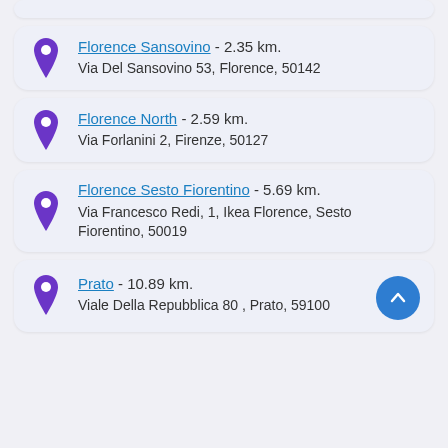Florence Sansovino - 2.35 km.
Via Del Sansovino 53, Florence, 50142
Florence North - 2.59 km.
Via Forlanini 2, Firenze, 50127
Florence Sesto Fiorentino - 5.69 km.
Via Francesco Redi, 1, Ikea Florence, Sesto Fiorentino, 50019
Prato - 10.89 km.
Viale Della Repubblica 80 , Prato, 59100